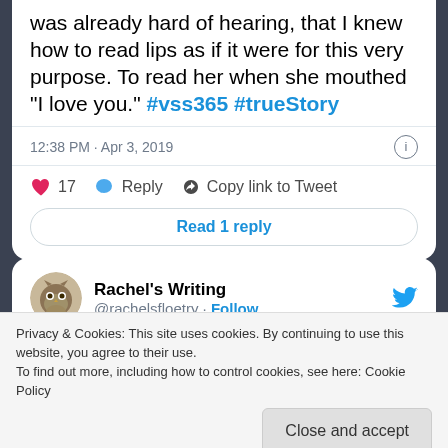was already hard of hearing, that I knew how to read lips as if it were for this very purpose. To read her when she mouthed "I love you." #vss365 #trueStory
12:38 PM · Apr 3, 2019
17  Reply  Copy link to Tweet
Read 1 reply
Rachel's Writing @rachelsfloetry · Follow
I've seen her casket lowered into the
Privacy & Cookies: This site uses cookies. By continuing to use this website, you agree to their use.
To find out more, including how to control cookies, see here: Cookie Policy
Close and accept
feeling she can still be here, but it only in my ❤ #vss365 #trueStory